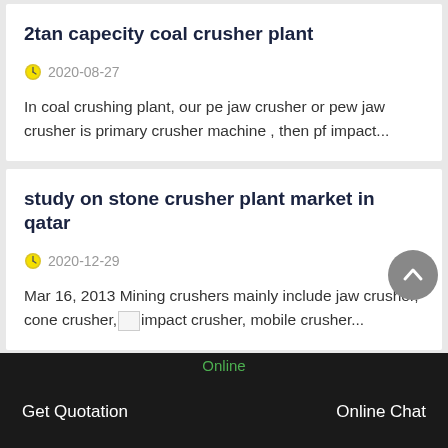2tan capecity coal crusher plant
2020-08-27
In coal crushing plant, our pe jaw crusher or pew jaw crusher is primary crusher machine , then pf impact...
study on stone crusher plant market in qatar
2020-12-29
Mar 16, 2013 Mining crushers mainly include jaw crusher, cone crusher, impact crusher, mobile crusher...
Online | Get Quotation | Online Chat